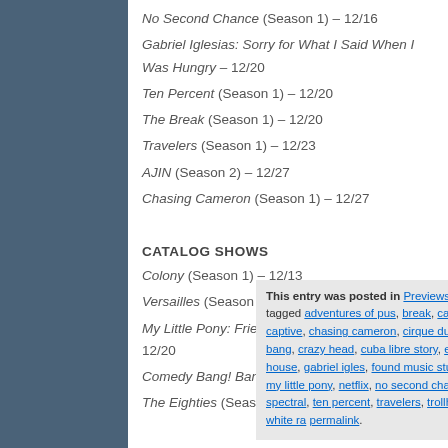No Second Chance (Season 1) – 12/16
Gabriel Iglesias: Sorry for What I Said When I Was Hungry – 12/20
Ten Percent (Season 1) – 12/20
The Break (Season 1) – 12/20
Travelers (Season 1) – 12/23
AJIN (Season 2) – 12/27
Chasing Cameron (Season 1) – 12/27
CATALOG SHOWS
Colony (Season 1) – 12/13
Versailles (Season 1) – 12/14
My Little Pony: Friendship Is Magic (Season 6) – 12/20
Comedy Bang! Bang! (Season 5) – 12/28
The Eighties (Season 1) – 12/29
This entry was posted in Previews, Television and tagged adventures of puss, break, call me francis, captive, chasing cameron, cirque du soleil junior, club bang, crazy head, cuba libre story, eighties, fauda, fuller house, gabriel igles, found music studios, medici, merli, my little pony, netflix, no second chance, ricard o'farrill, spectral, ten percent, travelers, trollhunters, versailles, white ra, permalink.